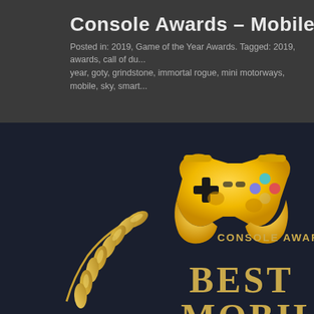Console Awards – Mobile
Posted in: 2019, Game of the Year Awards. Tagged: 2019, awards, call of du... year, goty, grindstone, immortal rogue, mini motorways, mobile, sky, smart...
[Figure (illustration): Gold game controller emoji/icon above a dark background with golden laurel wreath and 'CONSOLE AWARDS' text, with 'BEST MOBILE' text below in gold serif font]